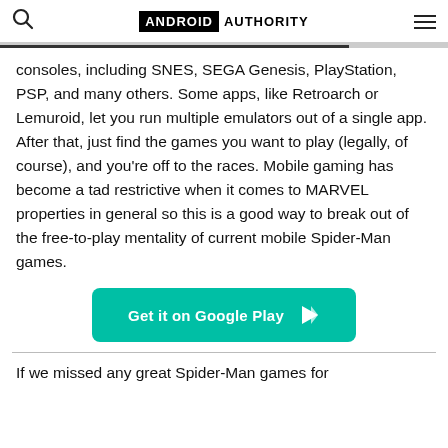ANDROID AUTHORITY
consoles, including SNES, SEGA Genesis, PlayStation, PSP, and many others. Some apps, like Retroarch or Lemuroid, let you run multiple emulators out of a single app. After that, just find the games you want to play (legally, of course), and you’re off to the races. Mobile gaming has become a tad restrictive when it comes to MARVEL properties in general so this is a good way to break out of the free-to-play mentality of current mobile Spider-Man games.
[Figure (other): Green 'Get it on Google Play' button with play arrow icon]
If we missed any great Spider-Man games for